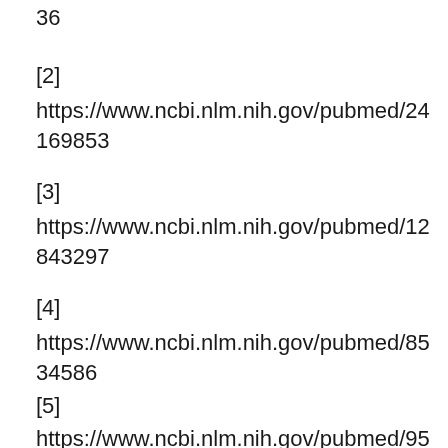36
[2]
https://www.ncbi.nlm.nih.gov/pubmed/24169853
[3]
https://www.ncbi.nlm.nih.gov/pubmed/12843297
[4]
https://www.ncbi.nlm.nih.gov/pubmed/8534586
[5]
https://www.ncbi.nlm.nih.gov/pubmed/957033